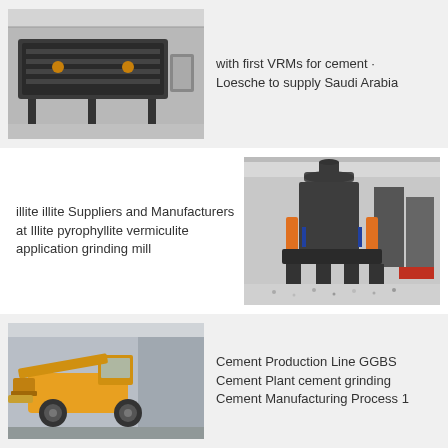[Figure (photo): Industrial machinery - large dark metal screening/vibrating equipment in a factory warehouse]
with first VRMs for cement · Loesche to supply Saudi Arabia
[Figure (photo): Industrial grinding mill equipment - vertical roller mill in a large industrial factory setting]
illite illite Suppliers and Manufacturers at Illite pyrophyllite vermiculite application grinding mill
[Figure (photo): Yellow heavy machinery / loader equipment in an industrial facility]
Cement Production Line GGBS Cement Plant cement grinding Cement Manufacturing Process 1